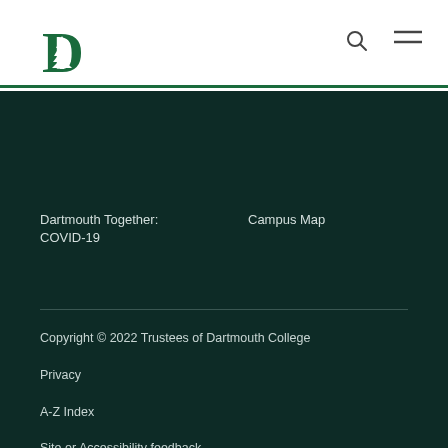[Figure (logo): Dartmouth College logo — green D with white pine tree]
Dartmouth Together: COVID-19
Campus Map
Copyright © 2022 Trustees of Dartmouth College
Privacy
A-Z Index
Site or Accessibility feedback